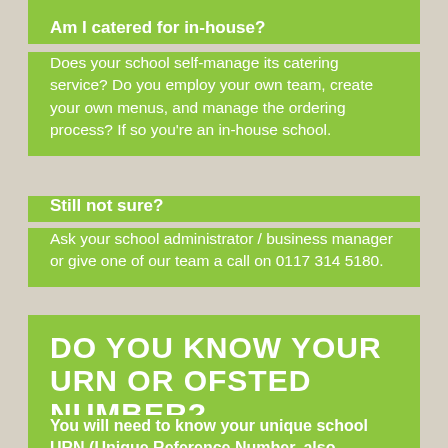Am I catered for in-house?
Does your school self-manage its catering service? Do you employ your own team, create your own menus, and manage the ordering process? If so you're an in-house school.
Still not sure?
Ask your school administrator / business manager or give one of our team a call on 0117 314 5180.
DO YOU KNOW YOUR URN OR OFSTED NUMBER?
You will need to know your unique school URN (Unique Reference Number, also